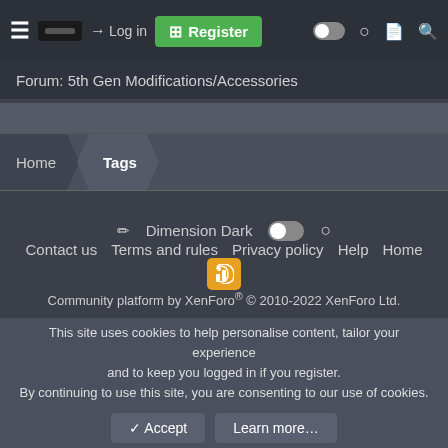Log in   Register
Forum: 5th Gen Modifications/Accessories
Home  Tags
Dimension Dark
Contact us   Terms and rules   Privacy policy   Help   Home
Community platform by XenForo® © 2010-2022 XenForo Ltd.
This site uses cookies to help personalise content, tailor your experience and to keep you logged in if you register.
By continuing to use this site, you are consenting to our use of cookies.